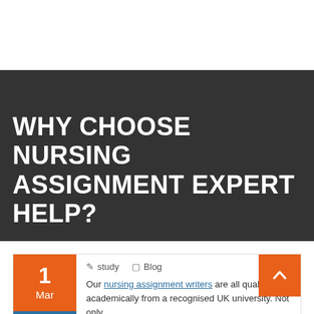[Figure (photo): White space / empty top area above dark banner]
WHY CHOOSE NURSING ASSIGNMENT EXPERT HELP?
1 Mar
study   Blog
Our nursing assignment writers are all qualified academically from a recognised UK university. Not only